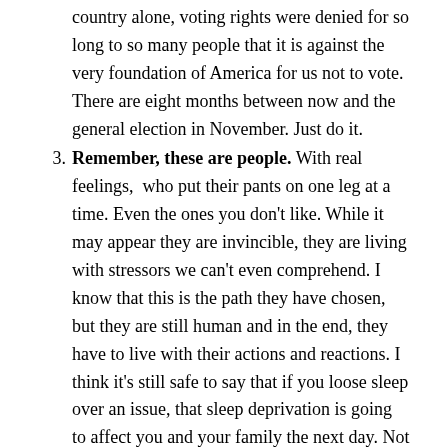country alone, voting rights were denied for so long to so many people that it is against the very foundation of America for us not to vote. There are eight months between now and the general election in November. Just do it.
3. Remember, these are people. With real feelings, who put their pants on one leg at a time. Even the ones you don't like. While it may appear they are invincible, they are living with stressors we can't even comprehend. I know that this is the path they have chosen, but they are still human and in the end, they have to live with their actions and reactions. I think it's still safe to say that if you loose sleep over an issue, that sleep deprivation is going to affect you and your family the next day. Not the politician.
4. There is still a job to do. Namely yours. We all